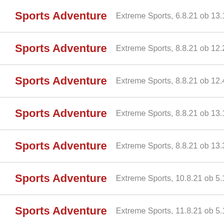Sports Adventure — Extreme Sports, 6.8.21 ob 13.10
Sports Adventure — Extreme Sports, 8.8.21 ob 12.20
Sports Adventure — Extreme Sports, 8.8.21 ob 12.45
Sports Adventure — Extreme Sports, 8.8.21 ob 13.10
Sports Adventure — Extreme Sports, 8.8.21 ob 13.35
Sports Adventure — Extreme Sports, 10.8.21 ob 5.15
Sports Adventure — Extreme Sports, 11.8.21 ob 5.15